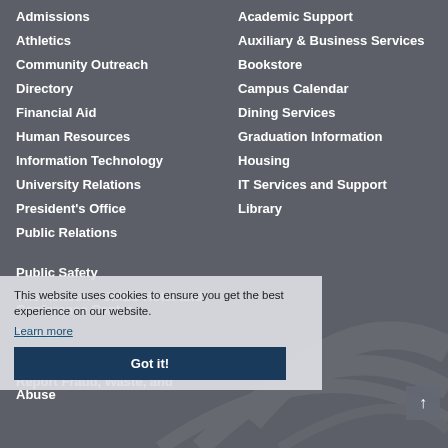Admissions
Athletics
Community Outreach
Directory
Financial Aid
Human Resources
Information Technology
University Relations
President's Office
Public Relations
Academic Support
Auxiliary & Business Services
Bookstore
Campus Calendar
Dining Services
Graduation Information
Housing
IT Services and Support
Library
Public Safety
The Henson - UMES Hotel and Conference Center
Title IX
A - Z Site Index
Report Fraud, Waste, and Abuse
This website uses cookies to ensure you get the best experience on our website.
Learn more
Got it!